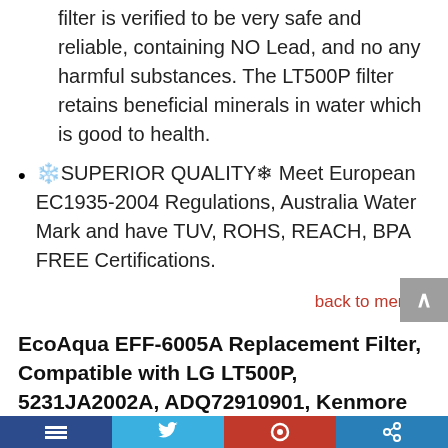filter is verified to be very safe and reliable, containing NO Lead, and no any harmful substances. The LT500P filter retains beneficial minerals in water which is good to health.
❄️SUPERIOR QUALITY❄ Meet European EC1935-2004 Regulations, Australia Water Mark and have TUV, ROHS, REACH, BPA FREE Certifications.
back to menu ↑
EcoAqua EFF-6005A Replacement Filter, Compatible with LG LT500P, 5231JA2002A, ADQ72910901, Kenmore GEN11042FR-08, 9890, 46-9890, 3 Pack